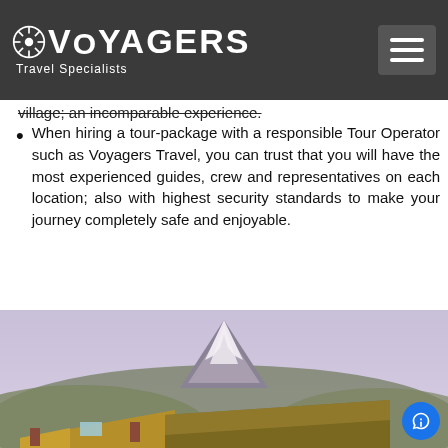VOYAGERS Travel Specialists
village; an incomparable experience.
When hiring a tour-package with a responsible Tour Operator such as Voyagers Travel, you can trust that you will have the most experienced guides, crew and representatives on each location; also with highest security standards to make your journey completely safe and enjoyable.
[Figure (photo): Photograph of thatched-roof red adobe buildings in an Andean landscape with a snow-capped volcano (Cotopaxi) in the background and cattle in the foreground.]